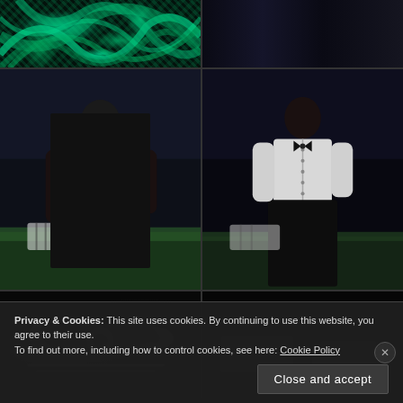[Figure (photo): Top-left: Swirly green and teal abstract art/mural on a dark background]
[Figure (photo): Top-right: Dark room interior with dark curtain or fabric, very dim lighting]
[Figure (photo): Middle-left: Woman wearing a black and white polka dot dress/pinafore, posing in a gothic dark room with green velvet couch]
[Figure (photo): Middle-right: Woman wearing a white button-up blouse and long black skirt with black bow tie, in gothic dark room]
[Figure (photo): Bottom-left: Ouija board or occult-themed rug with black and white imagery]
[Figure (photo): Bottom-right: Dark interior shot of couch/cushions]
Privacy & Cookies: This site uses cookies. By continuing to use this website, you agree to their use.
To find out more, including how to control cookies, see here: Cookie Policy
Close and accept